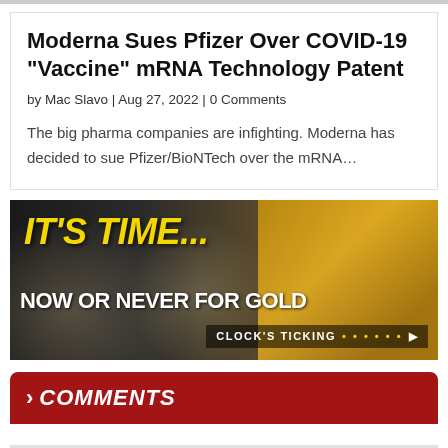Moderna Sues Pfizer Over COVID-19 "Vaccine" mRNA Technology Patent
by Mac Slavo | Aug 27, 2022 | 0 Comments
The big pharma companies are infighting. Moderna has decided to sue Pfizer/BioNTech over the mRNA...
[Figure (illustration): Advertisement banner with dark and gold background. Large yellow italic text reads 'IT'S TIME...' and white bold text below reads 'NOW OR NEVER FOR GOLD'. Bottom right corner has a small label 'CLOCK'S TICKING' with dots and an arrow.]
> COMMENTS